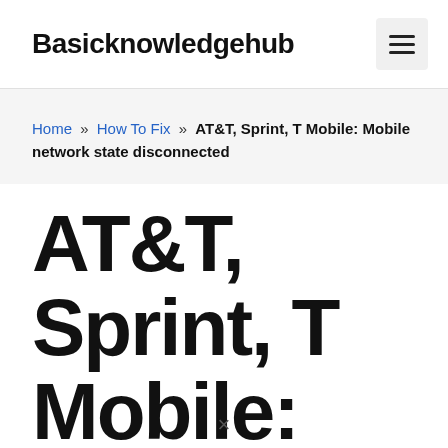Basicknowledgehub
Home » How To Fix » AT&T, Sprint, T Mobile: Mobile network state disconnected
AT&T, Sprint, T Mobile: Mobile